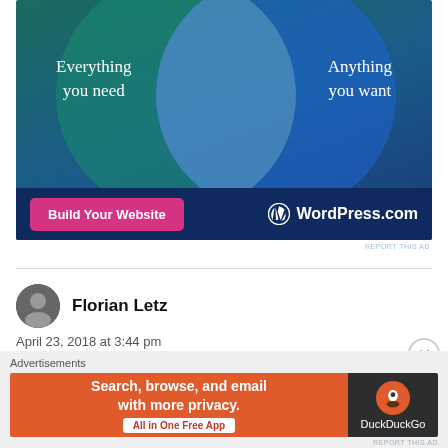[Figure (illustration): WordPress.com advertisement banner with two overlapping circles (Venn diagram) on a dark teal/blue gradient background. Left circle (teal): 'Everything you need', Right circle (blue): 'Anything you want'. Bottom bar has a pink 'Build Your Website' button and WordPress.com logo.]
REPORT THIS AD
Florian Letz
April 23, 2018 at 3:44 pm
[Figure (illustration): DuckDuckGo advertisement: orange left panel with 'Search, browse, and email with more privacy. All in One Free App' and dark right panel with DuckDuckGo logo.]
REPORT THIS AD